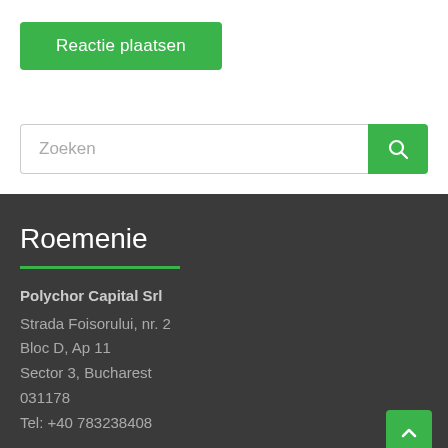Reactie plaatsen
Zoeken
Roemenie
Polychor Capital Srl
Strada Foisorului, nr. 2
Bloc D, Ap 11
Sector 3, Bucharest
031178
Tel: +40 783238408